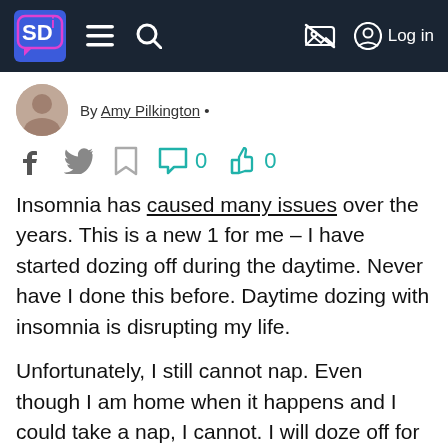SD i navigation bar with logo, menu, search, and Log in
By Amy Pilkington •
[Figure (other): Social sharing icons row: Facebook, Twitter, bookmark, comment (0), like (0)]
Insomnia has caused many issues over the years. This is a new 1 for me – I have started dozing off during the daytime. Never have I done this before. Daytime dozing with insomnia is disrupting my life.
Unfortunately, I still cannot nap. Even though I am home when it happens and I could take a nap, I cannot. I will doze off for less than 5 minutes and then wake up feeling annoyed.